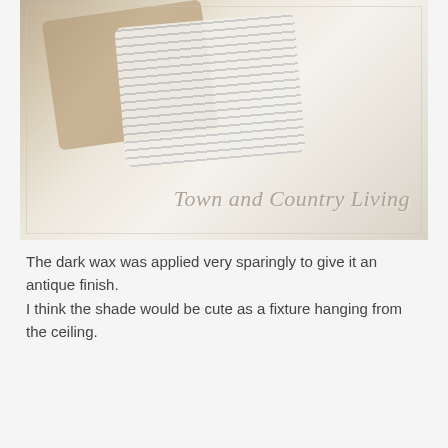[Figure (photo): A white slipcovered armchair with a striped decorative pillow and a burlap-toned pillow. Watermark text reads 'Town and Country Living' in italic serif font overlaid on the bottom-right of the image.]
The dark wax was applied very sparingly to give it an antique finish. I think the shade would be cute as a fixture hanging from the ceiling.
[Figure (photo): A lamp with a glowing warm light shade, a blue-tinted wall and window in the background, and a round mirror on the right. A 'Follow' button overlays the bottom-right corner.]